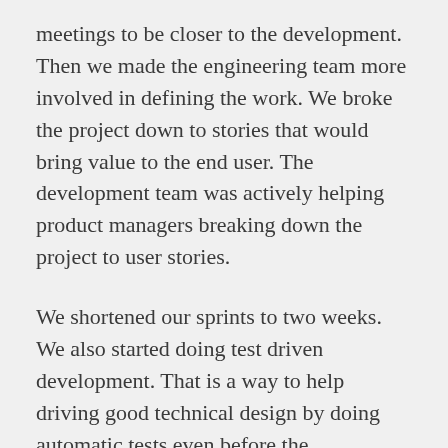meetings to be closer to the development. Then we made the engineering team more involved in defining the work. We broke the project down to stories that would bring value to the end user. The development team was actively helping product managers breaking down the project to user stories.
We shortened our sprints to two weeks. We also started doing test driven development. That is a way to help driving good technical design by doing automatic tests even before the functionality is developed. We also wrote higher level tests that tested the system from